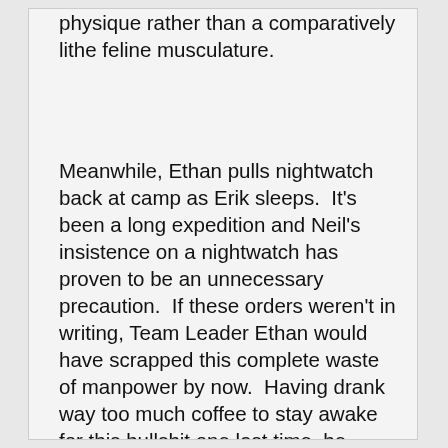physique rather than a comparatively lithe feline musculature.
Meanwhile, Ethan pulls nightwatch back at camp as Erik sleeps.  It's been a long expedition and Neil's insistence on a nightwatch has proven to be an unnecessary precaution.  If these orders weren't in writing, Team Leader Ethan would have scrapped this complete waste of manpower by now.  Having drank way too much coffee to stay awake for this bullshit one last time, he desperately needs to relieve himself.  After weeks of use, the improvised latrine is getting way too defiled for civilized use, yet it isn't worth the effort to dig another for this last night.  Surely he could just slip into some virgin bushes for once, rather than again being surrounded by his